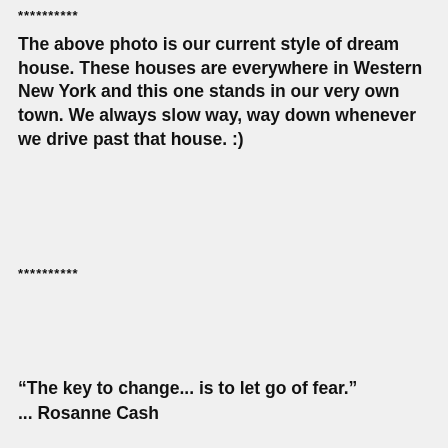**********
The above photo is our current style of dream house. These houses are everywhere in Western New York and this one stands in our very own town. We always slow way, way down whenever we drive past that house. :)
**********
“The key to change... is to let go of fear.”
... Rosanne Cash